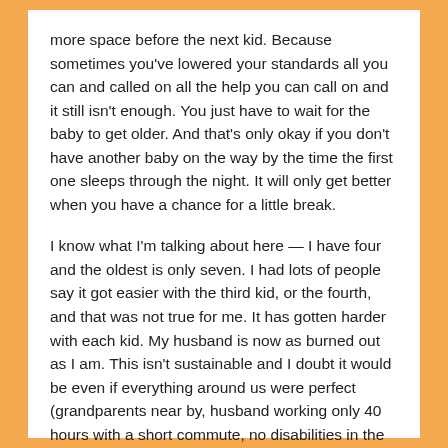more space before the next kid. Because sometimes you've lowered your standards all you can and called on all the help you can call on and it still isn't enough. You just have to wait for the baby to get older. And that's only okay if you don't have another baby on the way by the time the first one sleeps through the night. It will only get better when you have a chance for a little break.
I know what I'm talking about here — I have four and the oldest is only seven. I had lots of people say it got easier with the third kid, or the fourth, and that was not true for me. It has gotten harder with each kid. My husband is now as burned out as I am. This isn't sustainable and I doubt it would be even if everything around us were perfect (grandparents near by, husband working only 40 hours with a short commute, no disabilities in the family, etc.).